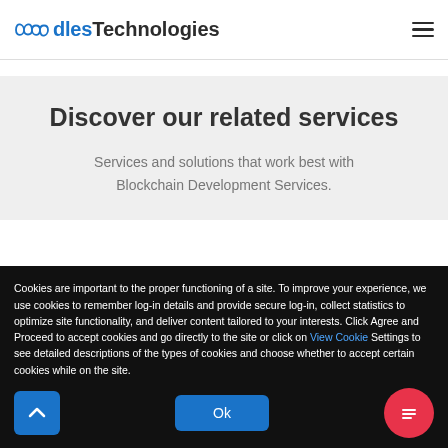OodlesTechnologies
Discover our related services
Services and solutions that work best with Blockchain Development Services.
Cookies are important to the proper functioning of a site. To improve your experience, we use cookies to remember log-in details and provide secure log-in, collect statistics to optimize site functionality, and deliver content tailored to your interests. Click Agree and Proceed to accept cookies and go directly to the site or click on View Cookie Settings to see detailed descriptions of the types of cookies and choose whether to accept certain cookies while on the site.